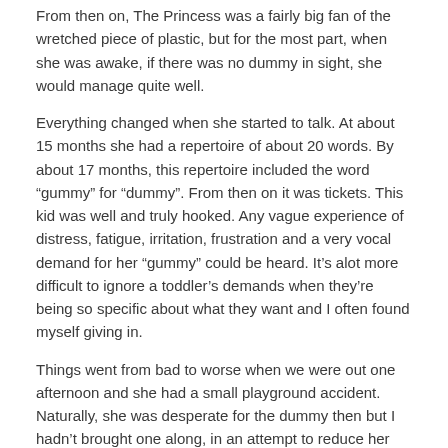From then on, The Princess was a fairly big fan of the wretched piece of plastic, but for the most part, when she was awake, if there was no dummy in sight, she would manage quite well.
Everything changed when she started to talk. At about 15 months she had a repertoire of about 20 words. By about 17 months, this repertoire included the word “gummy” for “dummy”. From then on it was tickets. This kid was well and truly hooked. Any vague experience of distress, fatigue, irritation, frustration and a very vocal demand for her “gummy” could be heard. It’s alot more difficult to ignore a toddler’s demands when they’re being so specific about what they want and I often found myself giving in.
Things went from bad to worse when we were out one afternoon and she had a small playground accident. Naturally, she was desperate for the dummy then but I hadn’t brought one along, in an attempt to reduce her dependence on the thing. A group of mothers at the next table kindly produced a sterilised one and donated it to us, but not before basically saying that going out without a dummy is a very, very stupid move.
“Keep one in your car next time,” they had instructed me. I had been useless in the moment of crisis, going into full panic mode when I saw a